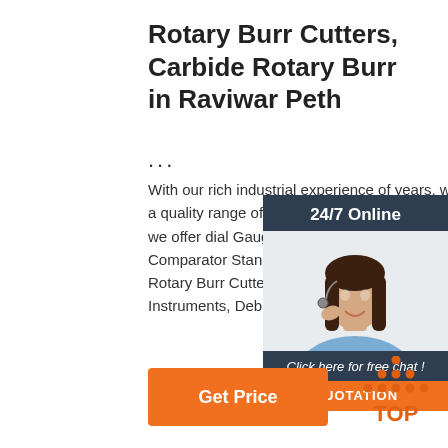Rotary Burr Cutters, Carbide Rotary Burr in Raviwar Peth
...
With our rich industrial experience of years, we are able to offer a quality range of industrial mass production tools. In our range, we offer dial Gauges, Surface Plates, Thread Gauges, Surface Comparator Stand, H.S.S. & C.S. Taps, H.S.S. & C.S. Dies, Rotary Burr Cutters, Solid Carbide Endmills & Drills, Measuring Instruments, Deburring Tools and Machine Tool Accessories.
[Figure (photo): 24/7 Online chat widget with customer service representative wearing headset, with orange QUOTATION button]
Get Price
[Figure (logo): TOP logo with orange dots arranged in triangle above the text TOP in orange]